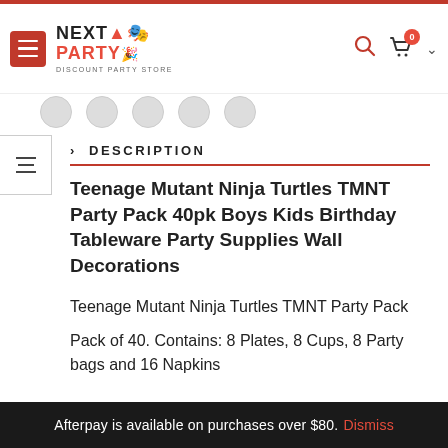Next Party Discount Party Store - navigation header
DESCRIPTION
Teenage Mutant Ninja Turtles TMNT Party Pack 40pk Boys Kids Birthday Tableware Party Supplies Wall Decorations
Teenage Mutant Ninja Turtles TMNT Party Pack
Pack of 40. Contains: 8 Plates, 8 Cups, 8 Party bags and 16 Napkins
Afterpay is available on purchases over $80. Dismiss